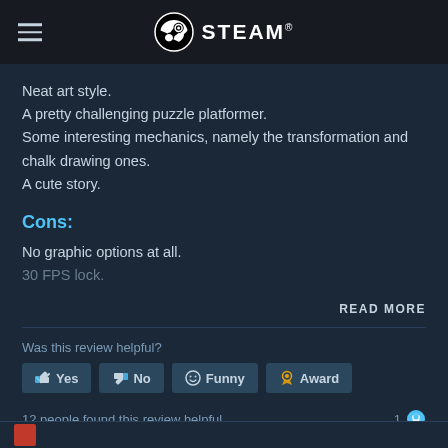STEAM
Neat art style.
A pretty challenging puzzle platformer.
Some interesting mechanics, namely the transformation and chalk drawing ones.
A cute story.
Cons:
No graphic options at all.
30 FPS lock.
READ MORE
Was this review helpful?
Yes  No  Funny  Award
12 people found this review helpful  1